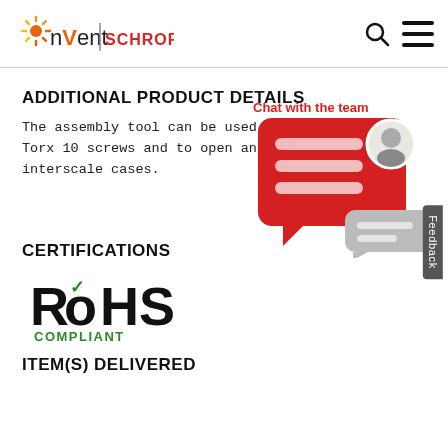[Figure (logo): nVent SCHROFF logo with sunburst icon and search/menu icons on the right]
ADDITIONAL PRODUCT DETAILS
The assembly tool can be used for Torx 10 screws and to open an interscale cases.
[Figure (illustration): Chat with the team overlay showing red speech bubble with person avatar and gray response bubble, with 'Chat with the team' label in red]
CERTIFICATIONS
[Figure (logo): RoHS Compliant certification logo with green checkmark]
ITEM(S) DELIVERED